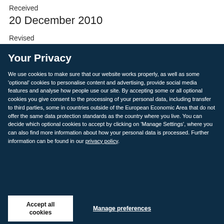Received
20 December 2010
Revised
Your Privacy
We use cookies to make sure that our website works properly, as well as some ‘optional’ cookies to personalise content and advertising, provide social media features and analyse how people use our site. By accepting some or all optional cookies you give consent to the processing of your personal data, including transfer to third parties, some in countries outside of the European Economic Area that do not offer the same data protection standards as the country where you live. You can decide which optional cookies to accept by clicking on ‘Manage Settings’, where you can also find more information about how your personal data is processed. Further information can be found in our privacy policy.
Accept all cookies
Manage preferences